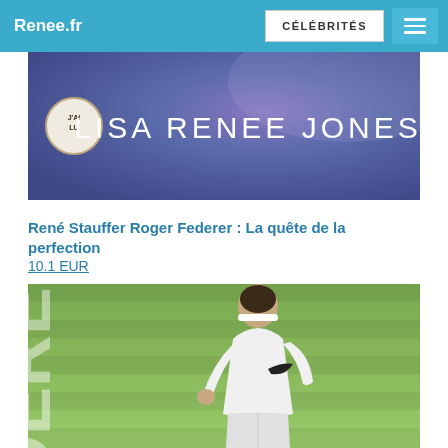Renee.fr  CÉLÉBRITÉS
[Figure (photo): Book cover image with purple background showing 'J'AI LU' badge on left and 'LISA RENEE JONES' text in white on right]
René Stauffer Roger Federer : La quête de la perfection
10.1 EUR
[Figure (photo): Book cover photo of Roger Federer in white tennis outfit on grass court, with large 'FEDERER' text vertically on left side]